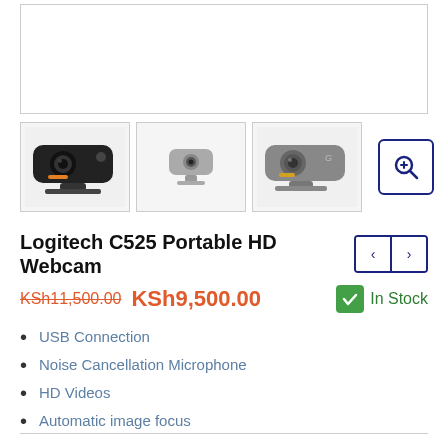[Figure (photo): Main product image area for Logitech C525 webcam (white/empty placeholder)]
[Figure (photo): Three thumbnail images of Logitech C525 webcam from different angles: front-left angled (dark), front view (gray), front-right angled (gray). Plus a zoom button icon.]
Logitech C525 Portable HD Webcam
KSh11,500.00 KSh9,500.00  In Stock
USB Connection
Noise Cancellation Microphone
HD Videos
Automatic image focus